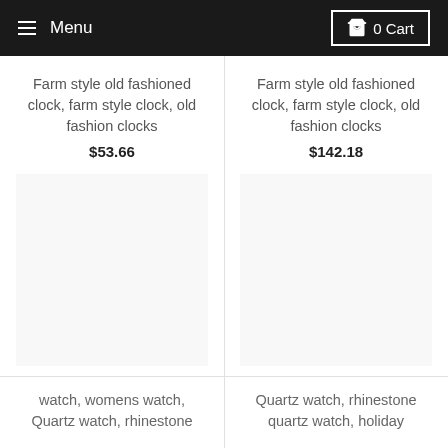Menu  0 Cart
Farm style old fashioned clock, farm style clock, old fashion clocks
$53.66
Farm style old fashioned clock, farm style clock, old fashion clocks
$142.18
[Figure (photo): Product image placeholder (white/blank) for farm style clock item 1]
[Figure (photo): Product image placeholder (white/blank) for farm style clock item 2]
watch, womens watch, Quartz watch, rhinestone
Quartz watch, rhinestone quartz watch, holiday